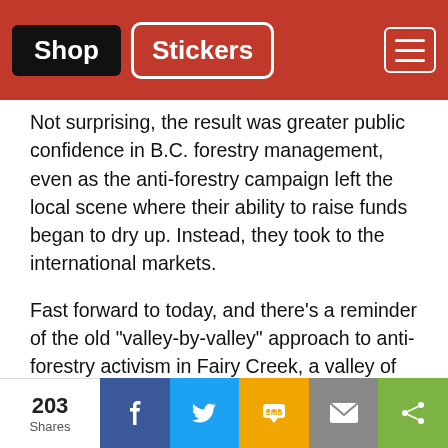Shop | Stickers
Not surprising, the result was greater public confidence in B.C. forestry management, even as the anti-forestry campaign left the local scene where their ability to raise funds began to dry up. Instead, they took to the international markets.
Fast forward to today, and there’s a reminder of the old “valley-by-valley” approach to anti-forestry activism in Fairy Creek, a valley of about 1,200 hectares of old forest near Port Renfrew on the Southwest coast of Vancouver Island. More than 1,000 hectares are currently protected or otherwise not suitable for harvest, and less than 200 hectares
203 Shares | Facebook | Twitter | SMS | Email | Share